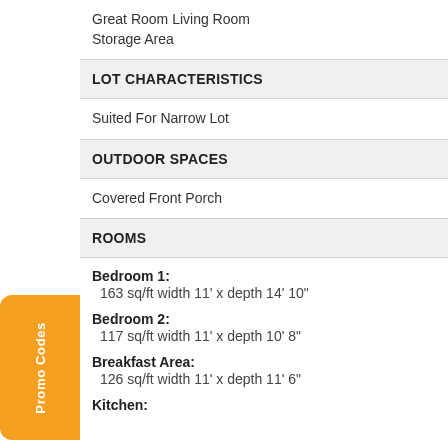Great Room Living Room
Storage Area
LOT CHARACTERISTICS
Suited For Narrow Lot
OUTDOOR SPACES
Covered Front Porch
ROOMS
Bedroom 1:
163 sq/ft width 11' x depth 14' 10"
Bedroom 2:
117 sq/ft width 11' x depth 10' 8"
Breakfast Area:
126 sq/ft width 11' x depth 11' 6"
Kitchen: